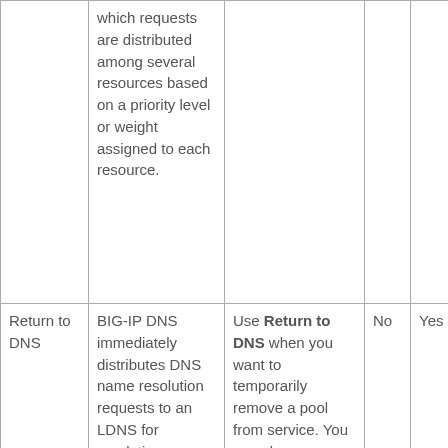|  | which requests are distributed among several resources based on a priority level or weight assigned to each resource. |  |  |  |
| Return to DNS | BIG-IP DNS immediately distributes DNS name resolution requests to an LDNS for resolution. | Use Return to DNS when you want to temporarily remove a pool from service. You can also use Return to DNS when you want to limit a | No | Yes |